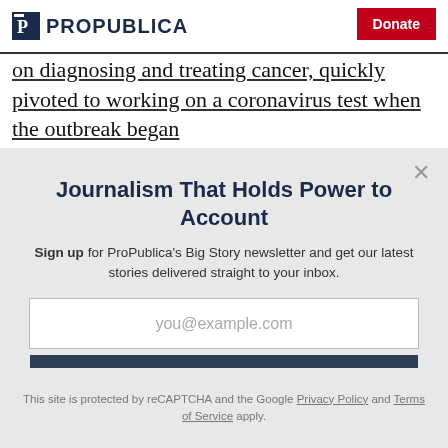ProPublica | Donate
on diagnosing and treating cancer, quickly pivoted to working on a coronavirus test when the outbreak began
Journalism That Holds Power to Account
Sign up for ProPublica's Big Story newsletter and get our latest stories delivered straight to your inbox.
you@example.com
Get the Newsletter
No thanks, I'm all set
This site is protected by reCAPTCHA and the Google Privacy Policy and Terms of Service apply.